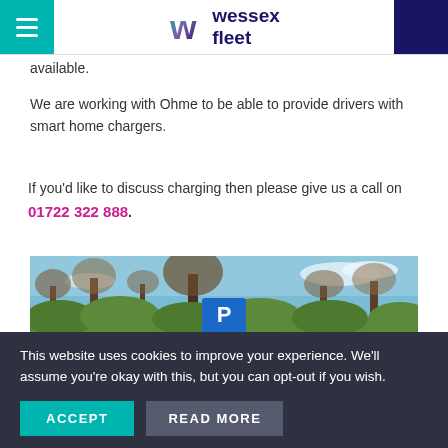wessex fleet
available.
We are working with Ohme to be able to provide drivers with smart home chargers.
If you'd like to discuss charging then please give us a call on 01722 322 888.
[Figure (photo): Outdoor photo showing a parking sign with letter P and arrows, in front of a green hedge and bare trees with a blue sky background.]
This website uses cookies to improve your experience. We'll assume you're okay with this, but you can opt-out if you wish.
ACCEPT   READ MORE